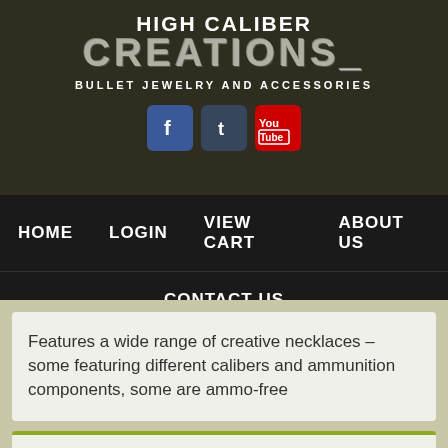HIGH CALIBER CREATIONS_ BULLET JEWELRY AND ACCESSORIES
[Figure (logo): Social media icons: Facebook (blue), Tumblr (dark blue), YouTube (red)]
HOME
LOGIN
VIEW CART
ABOUT US
CONTACT US
Features a wide range of creative necklaces – some featuring different calibers and ammunition components, some are ammo-free